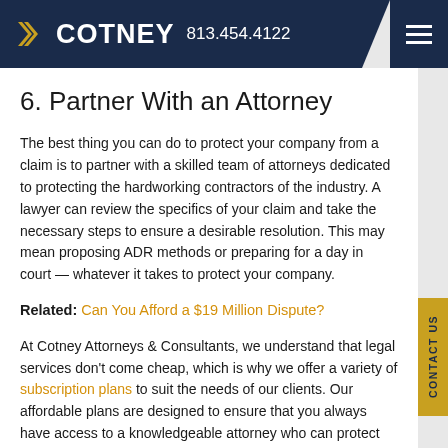COTNEY 813.454.4122
6. Partner With an Attorney
The best thing you can do to protect your company from a claim is to partner with a skilled team of attorneys dedicated to protecting the hardworking contractors of the industry. A lawyer can review the specifics of your claim and take the necessary steps to ensure a desirable resolution. This may mean proposing ADR methods or preparing for a day in court — whatever it takes to protect your company.
Related: Can You Afford a $19 Million Dispute?
At Cotney Attorneys & Consultants, we understand that legal services don't come cheap, which is why we offer a variety of subscription plans to suit the needs of our clients. Our affordable plans are designed to ensure that you always have access to a knowledgeable attorney who can protect your company at a moment's notice. If